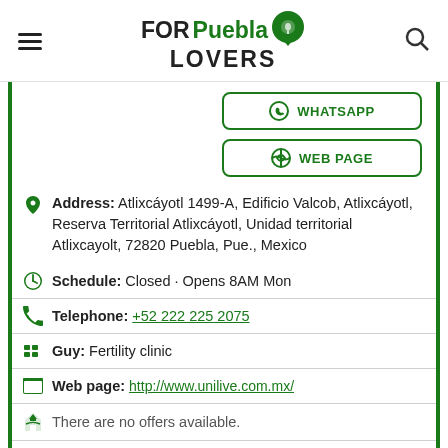FOR Puebla LOVERS
WHATSAPP
WEB PAGE
Address: Atlixcáyotl 1499-A, Edificio Valcob, Atlixcáyotl, Reserva Territorial Atlixcáyotl, Unidad territorial Atlixcayolt, 72820 Puebla, Pue., Mexico
Schedule: Closed · Opens 8AM Mon
Telephone: +52 222 225 2075
Guy: Fertility clinic
Web page: http://www.unilive.com.mx/
There are no offers available.
Near Unilive Centro de Reproducción Asistida: